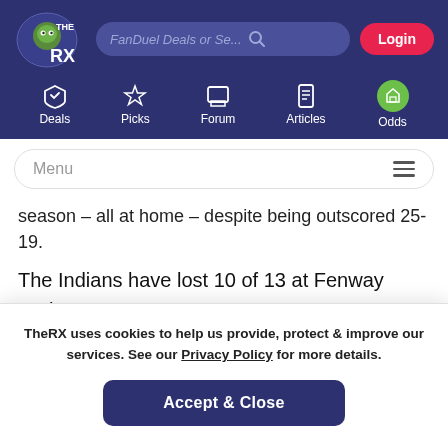[Figure (screenshot): TheRX website navigation header with logo, search bar with placeholder 'FanDuel Deals or Se...', Login button, and nav icons for Deals, Picks, Forum, Articles, Odds]
[Figure (screenshot): Menu bar with hamburger icon]
season – all at home – despite being outscored 25-19.
The Indians have lost 10 of 13 at Fenway Park.
[Figure (screenshot): Share icons: forward/share arrow, Facebook circle button, Twitter circle button]
TheRX uses cookies to help us provide, protect & improve our services. See our Privacy Policy for more details.
Accept & Close